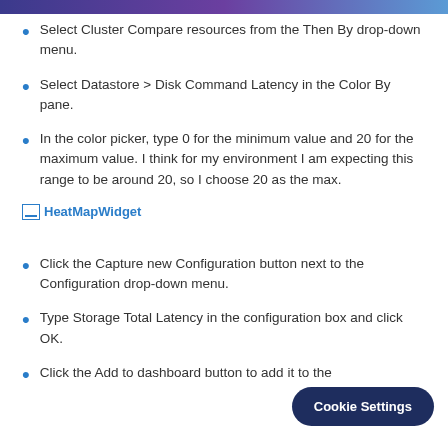Select Cluster Compare resources from the Then By drop-down menu.
Select Datastore > Disk Command Latency in the Color By pane.
In the color picker, type 0 for the minimum value and 20 for the maximum value. I think for my environment I am expecting this range to be around 20, so I choose 20 as the max.
[Figure (screenshot): HeatMapWidget image placeholder]
Click the Capture new Configuration button next to the Configuration drop-down menu.
Type Storage Total Latency in the configuration box and click OK.
Click the Add to dashboard button to add it to the dashboard.
Cookie Settings